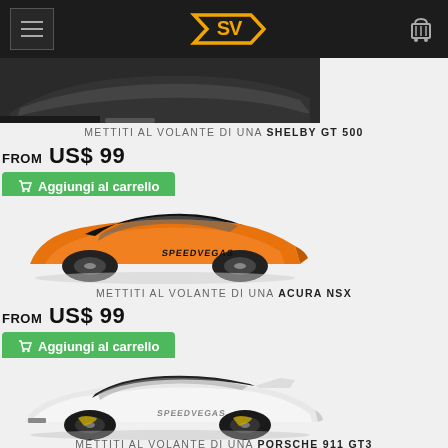SV logo and navigation header
[Figure (photo): Partial view of a dark/black sports car (Shelby GT500) visible at the top of the page]
METTITI AL VOLANTE DI UNA SHELBY GT 500
FROM US$ 99
Aggiungi al carrello
[Figure (photo): Orange Acura NSX sports car with SpeedVegas branding on white background]
METTITI AL VOLANTE DI UNA ACURA NSX
FROM US$ 99
Aggiungi al carrello
[Figure (photo): White Porsche 911 GT3 sports car with SpeedVegas branding on white background]
METTITI AL VOLANTE DI UNA PORSCHE 911 GT3